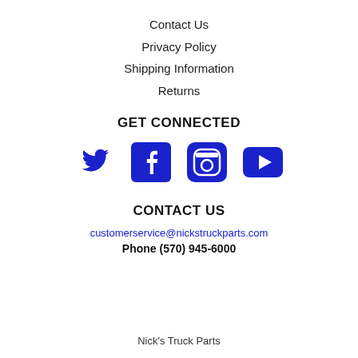Contact Us
Privacy Policy
Shipping Information
Returns
GET CONNECTED
[Figure (infographic): Four social media icons: Twitter (bird), Facebook (f), Instagram (camera), YouTube (play button), all in blue]
CONTACT US
customerservice@nickstruckparts.com
Phone (570) 945-6000
Nick's Truck Parts